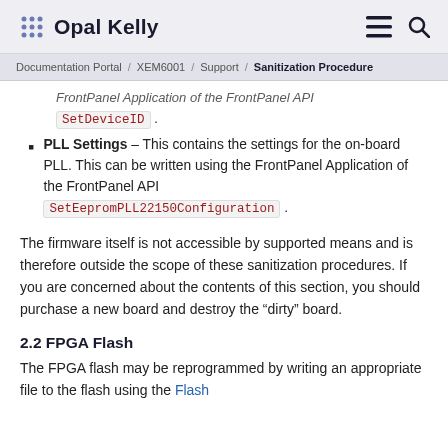Opal Kelly  [menu icon] [search icon]
Documentation Portal / XEM6001 / Support / Sanitization Procedure
FrontPanel Application of the FrontPanel API SetDeviceID.
PLL Settings – This contains the settings for the on-board PLL. This can be written using the FrontPanel Application of the FrontPanel API SetEepromPLL22150Configuration.
The firmware itself is not accessible by supported means and is therefore outside the scope of these sanitization procedures. If you are concerned about the contents of this section, you should purchase a new board and destroy the "dirty" board.
2.2 FPGA Flash
The FPGA flash may be reprogrammed by writing an appropriate file to the flash using the Flash